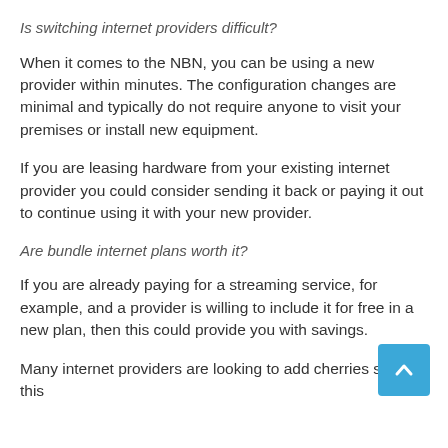Is switching internet providers difficult?
When it comes to the NBN, you can be using a new provider within minutes. The configuration changes are minimal and typically do not require anyone to visit your premises or install new equipment.
If you are leasing hardware from your existing internet provider you could consider sending it back or paying it out to continue using it with your new provider.
Are bundle internet plans worth it?
If you are already paying for a streaming service, for example, and a provider is willing to include it for free in a new plan, then this could provide you with savings.
Many internet providers are looking to add cherries such as this